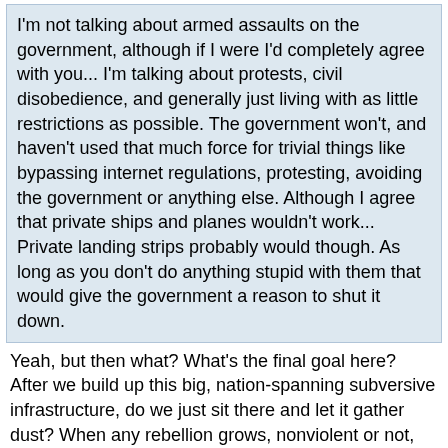I'm not talking about armed assaults on the government, although if I were I'd completely agree with you... I'm talking about protests, civil disobedience, and generally just living with as little restrictions as possible. The government won't, and haven't used that much force for trivial things like bypassing internet regulations, protesting, avoiding the government or anything else. Although I agree that private ships and planes wouldn't work... Private landing strips probably would though. As long as you don't do anything stupid with them that would give the government a reason to shut it down.
Yeah, but then what? What's the final goal here? After we build up this big, nation-spanning subversive infrastructure, do we just sit there and let it gather dust? When any rebellion grows, nonviolent or not, eventually it reaches critical mass and hits a point where it poses a tangible threat to the existing regime. At that point, the existing regime pushes back, hard, for the sake of its own survival. And all those liberated towns and free airstrips might as well be painted with big red bullseyes.
Look at Ruby Ridge. I'm not sympathizing with those Neo-Nazi fucktards and I'm not saying that it was wrong for the Feds to intervene, since there were little kids being kept up there by their psychotic parents. But it illustrates how strongly the government will respond when someone tries to just "break away." Once you stop paying taxes and following the laws, it doesn't matter whether you're hurting